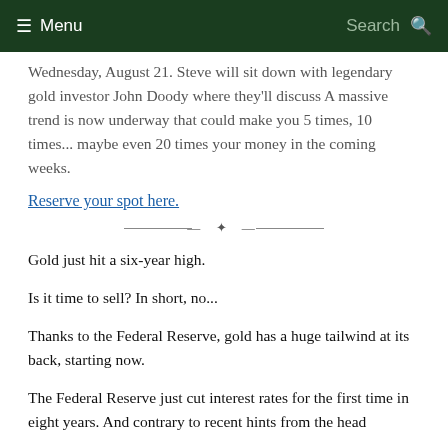≡ Menu    Search 🔍
Wednesday, August 21. Steve will sit down with legendary gold investor John Doody where they'll discuss A massive trend is now underway that could make you 5 times, 10 times... maybe even 20 times your money in the coming weeks.
Reserve your spot here.
Gold just hit a six-year high.
Is it time to sell? In short, no...
Thanks to the Federal Reserve, gold has a huge tailwind at its back, starting now.
The Federal Reserve just cut interest rates for the first time in eight years. And contrary to recent hints from the head